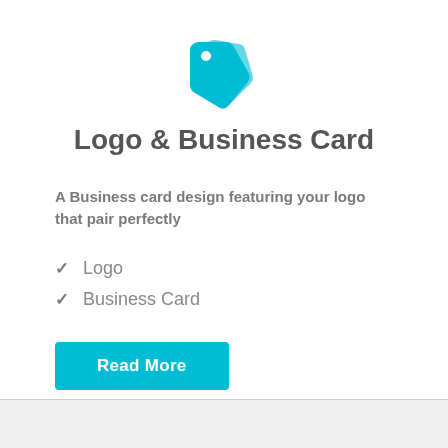[Figure (logo): A cyan/turquoise price tag icon with a small white circle hole, stacked double tag design]
Logo & Business Card
A Business card design featuring your logo that pair perfectly
Logo
Business Card
Read More